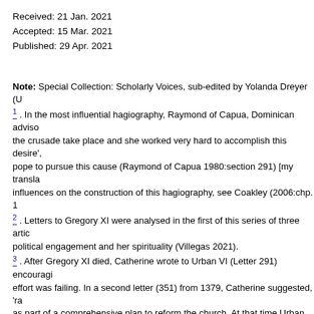Received: 21 Jan. 2021
Accepted: 15 Mar. 2021
Published: 29 Apr. 2021
Note: Special Collection: Scholarly Voices, sub-edited by Yolanda Dreyer (U...
1 . In the most influential hagiography, Raymond of Capua, Dominican advis... the crusade take place and she worked very hard to accomplish this desire',... pope to pursue this cause (Raymond of Capua 1980:section 291) [my transla... influences on the construction of this hagiography, see Coakley (2006:chp. 1...
2 . Letters to Gregory XI were analysed in the first of this series of three artic... political engagement and her spirituality (Villegas 2021).
3 . After Gregory XI died, Catherine wrote to Urban VI (Letter 291) encouragi... effort was failing. In a second letter (351) from 1379, Catherine suggested, 'r... as part of a comprehensive plan to reform the church. At that time Urban VI w... crusade made no sense. I interpret these 1379 passages as further evidence... importance Catherine placed on the salvific value of crusade. References to... Volpato (Catherine of Siena 2002), which uses the T (Tommaseo) numbering... Noffke's English translation (Catherine of Siena 2000-2008), where letters ar...
4 . For instance, Luongo (2006) in his influential recent work argues that Cat... involvement in the crusade (see also Vauchez 2018:39-43, 50). See Luongo... accounts regarding Catherine's advocacy for ecclesiastical policies.
5 . For instance, see Rousset (1975). For a list of important historical essays...
6 . I use the term unbelievers for consistency with Catherine's usage in her 1...
7 . See Thiebault (1985) for the history of Gregory XI's crusade; Thiebault (19... failure.
8 . Gregory XI wanted a crusade since he was consecrated pope, before Cat...